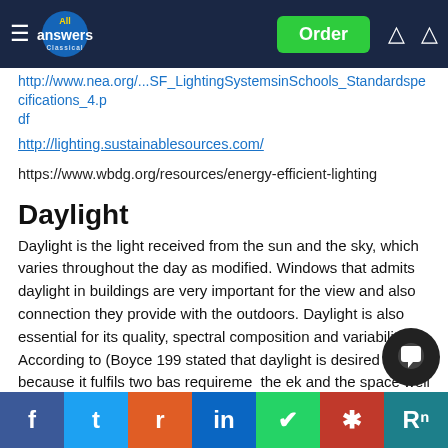All Answers Ltd — Order
http://www.nea.org/...SF_LightingSystemsinSchools_Standardspecifications_4.pdf
http://lighting.sustainablesources.com/
https://www.wbdg.org/resources/energy-efficient-lighting
Daylight
Daylight is the light received from the sun and the sky, which varies throughout the day as modified. Windows that admits daylight in buildings are very important for the view and also connection they provide with the outdoors. Daylight is also essential for its quality, spectral composition and variability.  According to (Boyce 199... stated that daylight is desired because it fulfils two bas... requireme...  the e...k and the space well... to experie... some a... al